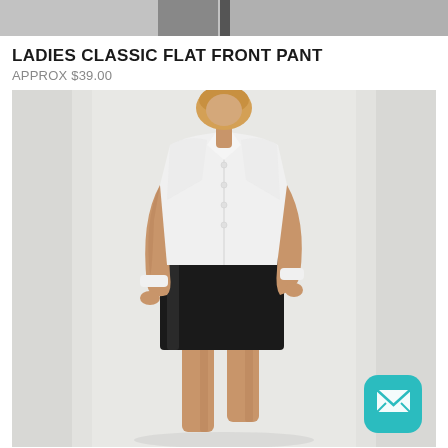[Figure (photo): Partial top image strip showing what appears to be a clothing/model photo cut off at the top of the page]
LADIES CLASSIC FLAT FRONT PANT
APPROX $39.00
[Figure (photo): Model wearing a white button-up shirt tucked into a black pencil skirt, standing against a light grey background. The model is cropped from the shoulders to below the knees.]